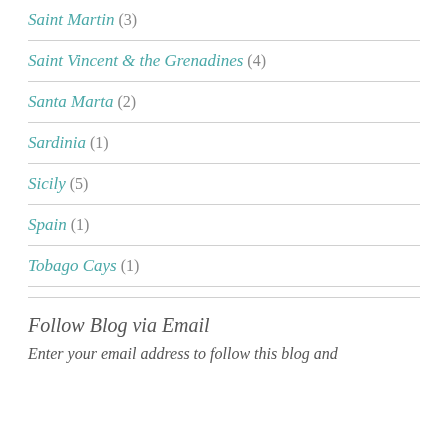Saint Martin (3)
Saint Vincent & the Grenadines (4)
Santa Marta (2)
Sardinia (1)
Sicily (5)
Spain (1)
Tobago Cays (1)
Follow Blog via Email
Enter your email address to follow this blog and